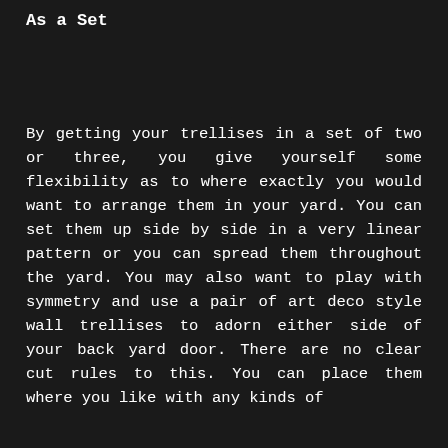As a Set
By getting your trellises in a set of two or three, you give yourself some flexibility as to where exactly you would want to arrange them in your yard. You can set them up side by side in a very linear pattern or you can spread them throughout the yard. You may also want to play with symmetry and use a pair of art deco style wall trellises to adorn either side of your back yard door. There are no clear cut rules to this. You can place them where you like with any kinds of